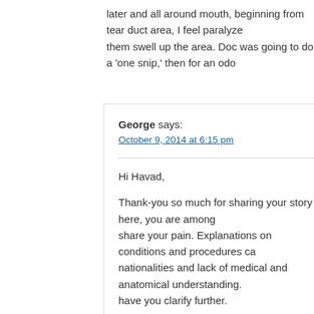later and all around mouth, beginning from tear duct area, I feel paralyze them swell up the area. Doc was going to do a 'one snip,' then for an odo
George says:
October 9, 2014 at 6:15 pm
Hi Havad,
Thank-you so much for sharing your story here, you are among share your pain. Explanations on conditions and procedures ca nationalities and lack of medical and anatomical understanding. have you clarify further.
So you had dry eyes? How old are you? and when did the dry e How severe? Did you have all four punctum's cauterized at onc the lowers cauterized and if no relief have plugs placed in the u However, the upper plugs can always be removed if epiphora is at once is risky. Furthermore, why did you have the ducts caute